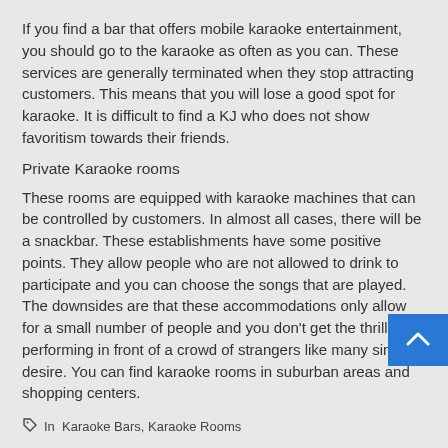If you find a bar that offers mobile karaoke entertainment, you should go to the karaoke as often as you can. These services are generally terminated when they stop attracting customers. This means that you will lose a good spot for karaoke. It is difficult to find a KJ who does not show favoritism towards their friends.
Private Karaoke rooms
These rooms are equipped with karaoke machines that can be controlled by customers. In almost all cases, there will be a snackbar. These establishments have some positive points. They allow people who are not allowed to drink to participate and you can choose the songs that are played. The downsides are that these accommodations only allow for a small number of people and you don't get the thrill of performing in front of a crowd of strangers like many singers desire. You can find karaoke rooms in suburban areas and shopping centers.
In  Karaoke Bars, Karaoke Rooms